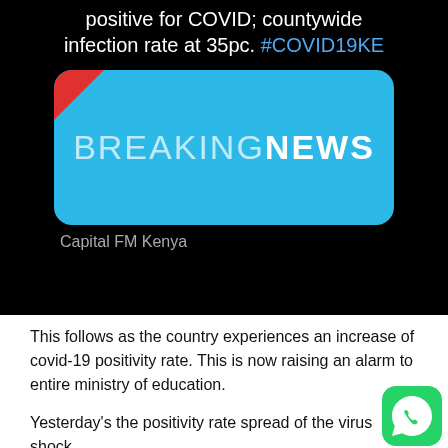[Figure (screenshot): Screenshot of a Capital FM Kenya tweet on a black background showing a Breaking News card. Tweet text reads: 'positive for COVID; countywide infection rate at 35pc. #COVID19KE'. The breaking news card is a rounded blue rectangle with a red corner accent showing 'BREAKING NEWS' text. 'Capital FM Kenya' appears as source label.]
This follows as the country experiences an increase of covid-19 positivity rate. This is now raising an alarm to entire ministry of education.
Yesterday's the positivity rate spread of the virus  shock many as it increased from 14%  to 18%.